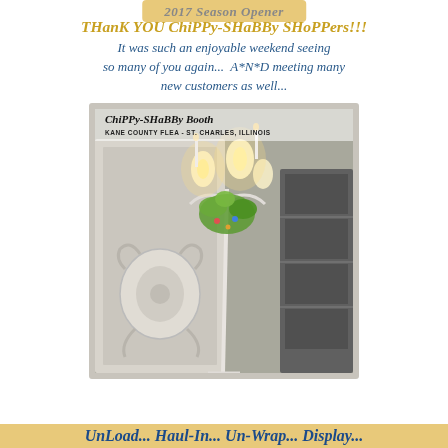2017 Season Opener
THanK YOU ChiPPy-SHaBBy SHoPPers!!! It was such an enjoyable weekend seeing so many of you again... A*N*D meeting many new customers as well...
[Figure (photo): Photo of ChiPPy-SHaBBy Booth at Kane County Flea - St. Charles, Illinois, showing vintage white ornamental pieces, a plant stand with green foliage, candle lights, and shelving unit in background]
UnLoad... Haul-In... Un-Wrap... Display...